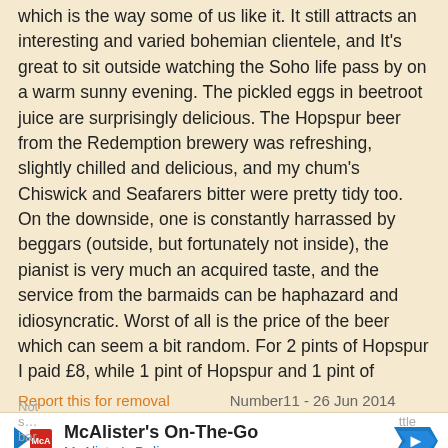which is the way some of us like it. It still attracts an interesting and varied bohemian clientele, and It's great to sit outside watching the Soho life pass by on a warm sunny evening. The pickled eggs in beetroot juice are surprisingly delicious. The Hopspur beer from the Redemption brewery was refreshing, slightly chilled and delicious, and my chum's Chiswick and Seafarers bitter were pretty tidy too.
On the downside, one is constantly harrassed by beggars (outside, but fortunately not inside), the pianist is very much an acquired taste, and the service from the barmaids can be haphazard and idiosyncratic. Worst of all is the price of the beer which can seem a bit random. For 2 pints of Hopspur I paid £8, while 1 pint of Hopspur and 1 pint of Chiswick bitter set me back £8.45. Steep, if not vertiginous, even by London standards!
Report this for removal      Number11 - 26 Jun 2014 21:08
[Figure (infographic): McAlister's On-The-Go advertisement banner with McAlister's Deli logo and navigation arrow icon]
Not s...                                                     ttle bar